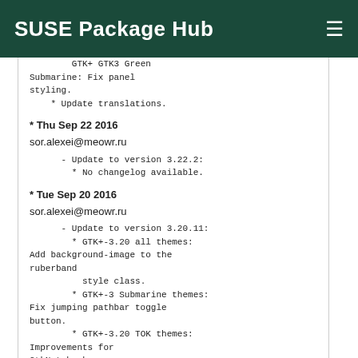SUSE Package Hub
GTK+ GTK3 Green Submarine: Fix panel styling.
    * Update translations.
* Thu Sep 22 2016 sor.alexei@meowr.ru
  - Update to version 3.22.2:
    * No changelog available.
* Tue Sep 20 2016 sor.alexei@meowr.ru
  - Update to version 3.20.11:
    * GTK+-3.20 all themes: Add background-image to the ruberband
          style class.
    * GTK+-3 Submarine themes: Fix jumping pathbar toggle button.
    * GTK+-3.20 TOK themes: Improvements for GtkNotebook.
    * GTK+-3.20 GreenLaguna: Improvements for GtkNotebook.
    * GTK+-3.20 Menta themes: GtkNotebook improvements.
    * GTK+-3.20 Submarine themes: GtkNotebook improvements and more.
    * GTK+-3.20 TOK themes: Fix tabs in mate-terminal